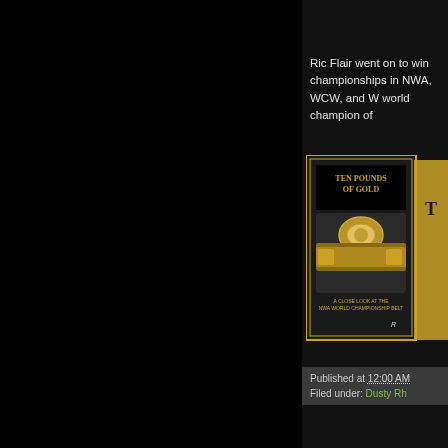Ric Flair went on to win championships in NWA, WCW, and W world champion of
[Figure (photo): Book cover: 'Ten Pounds of Gold - A Close Look at the NWA World Championship Belt']
Published at 12:00 AM
Filed under: Dusty Rh
Friday, September 16
WBTV Webs